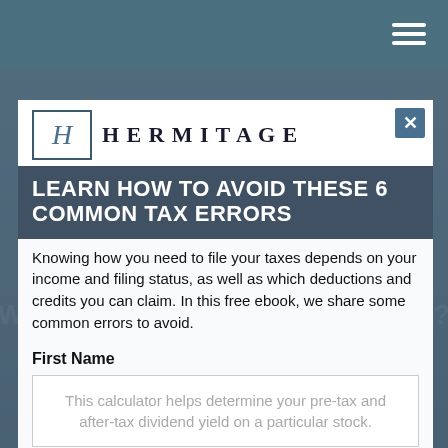Navigation bar with hamburger menu
[Figure (screenshot): Hermitage financial company logo with stylized H in a bordered box, followed by 'HERMITAGE' text in spaced serif capitals]
LEARN HOW TO AVOID THESE 6 COMMON TAX ERRORS
Knowing how you need to file your taxes depends on your income and filing status, as well as which deductions and credits you can claim. In this free ebook, we share some common errors to avoid.
First Name
This calculator helps determine your pre-tax and after-tax dividend yield on a particular stock.
Last Name